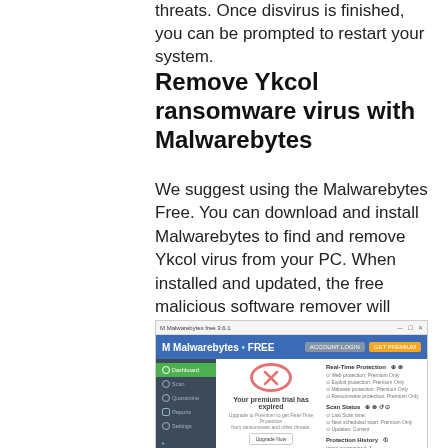threats. Once disvirus is finished, you can be prompted to restart your system.
Remove Ykcol ransomware virus with Malwarebytes
We suggest using the Malwarebytes Free. You can download and install Malwarebytes to find and remove Ykcol virus from your PC. When installed and updated, the free malicious software remover will automatically scan and detect all threats exist on the machine.
[Figure (screenshot): Screenshot of Malwarebytes Free application showing dashboard with 'Your premium trial has expired' message, sidebar with Dashboard, Scan, Quarantine, Reports, Settings options, and right panel showing Real-Time Protection, Scan Status, and Protection History sections.]